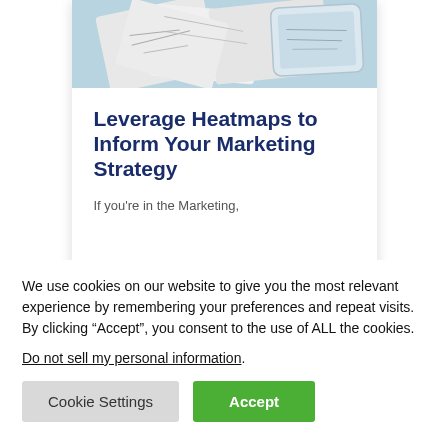[Figure (photo): A photo of scattered hand-drawn maps or blueprints on a light surface with a bluish tint]
Leverage Heatmaps to Inform Your Marketing Strategy
If you're in the Marketing,
We use cookies on our website to give you the most relevant experience by remembering your preferences and repeat visits. By clicking “Accept”, you consent to the use of ALL the cookies.
Do not sell my personal information.